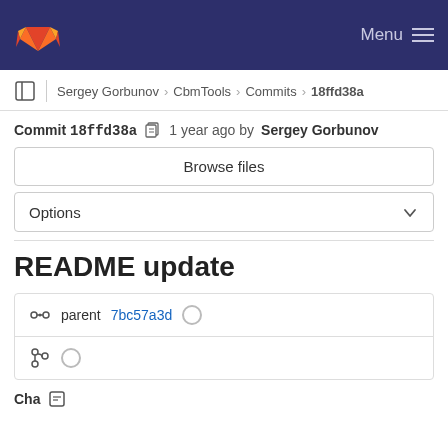Menu
Sergey Gorbunov › CbmTools › Commits › 18ffd38a
Commit 18ffd38a  1 year ago by Sergey Gorbunov
Browse files
Options
README update
parent 7bc57a3d